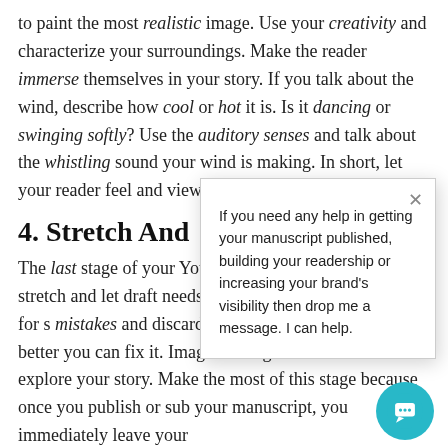to paint the most realistic image. Use your creativity and characterize your surroundings. Make the reader immerse themselves in your story. If you talk about the wind, describe how cool or hot it is. Is it dancing or swinging softly? Use the auditory senses and talk about the whistling sound your wind is making. In short, let your reader feel and view what they are reading.
4. Stretch And
The last stage of your You can't leave your wo need to stretch and let draft needs stretching. over again. Check for s mistakes and discard a you read your draft the better you can fix it. Imagine being the reader and explore your story. Make the most of this stage because once you publish or sub your manuscript, you immediately leave your
[Figure (infographic): Popup chat box with message: 'If you need any help in getting your manuscript published, building your readership or increasing your brand's visibility then drop me a message. I can help.' with a close button (×) in the top right.]
[Figure (other): Teal circular chat button with speech bubble icon in the bottom right corner.]